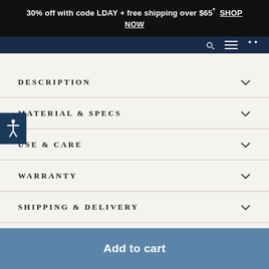30% off with code LDAY + free shipping over $65* SHOP NOW
[Figure (screenshot): Dark navy navigation bar with icons on the right side]
DESCRIPTION
MATERIAL & SPECS
USE & CARE
WARRANTY
SHIPPING & DELIVERY
[Figure (illustration): Accessibility icon button on the left side, white figure with arms outstretched on dark blue background]
Add to cart